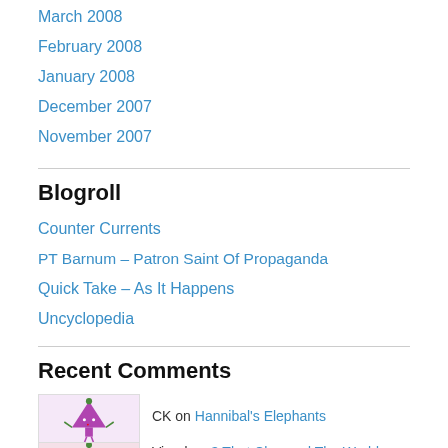March 2008
February 2008
January 2008
December 2007
November 2007
Blogroll
Counter Currents
PT Barnum – Patron Saint Of Propaganda
Quick Take – As It Happens
Uncyclopedia
Recent Comments
CK on Hannibal's Elephants
Vinod on 3 That Changed The World…